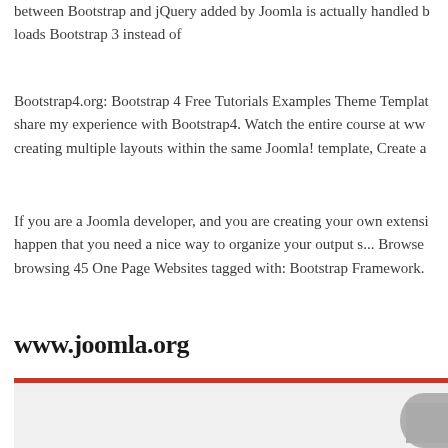between Bootstrap and jQuery added by Joomla is actually handled b loads Bootstrap 3 instead of
Bootstrap4.org: Bootstrap 4 Free Tutorials Examples Theme Templat share my experience with Bootstrap4. Watch the entire course at ww creating multiple layouts within the same Joomla! template, Create a
If you are a Joomla developer, and you are creating your own extensi happen that you need a nice way to organize your output s... Browse browsing 45 One Page Websites tagged with: Bootstrap Framework.
www.joomla.org
[Figure (screenshot): Screenshot of a website with a light gray background, an orange/red top border, and partial gray shapes visible on the right side.]